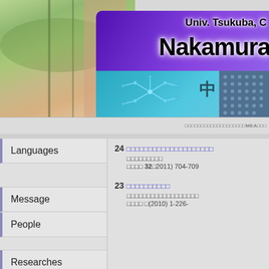[Figure (screenshot): University Tsukuba Nakamura Lab website header with photo of building/trees on left, purple/blue gradient banner with 'Univ. Tsukuba, C' and 'Nakamura' text, cyan sub-banner with Japanese text, molecule diagram and dot pattern]
□□□□□□□□□□□□□□□□□□□MEA□□□
Languages
24 □□□□□□□□□□□□□□□□□□□□
□□□□□□□□□
□□□□ 32□(2011) 704-709
Message
People
23 □□□□□□□□□□
□□□□□□□□□□□□□□□□□□
□□□□ □(2010) 1-226-
Researches
Publications